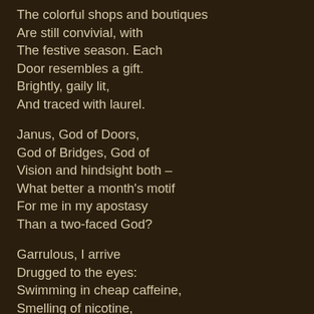The colorful shops and boutiques
Are still convivial, with
The festive season.  Each
Door resembles a gift.
Brightly, gaily lit,
And traced with laurel.

Janus, God of Doors,
God of Bridges, God of
Vision and hindsight both –
What better a month's motif
For me in my apostasy
Than a two-faced God?

Garrulous, I arrive
Drugged to the eyes:
Swimming in cheap caffeine,
Smelling of nicotine,
All doped up
On the intellectual chic:
Jefferson's exhortation
About "the price of freedom."